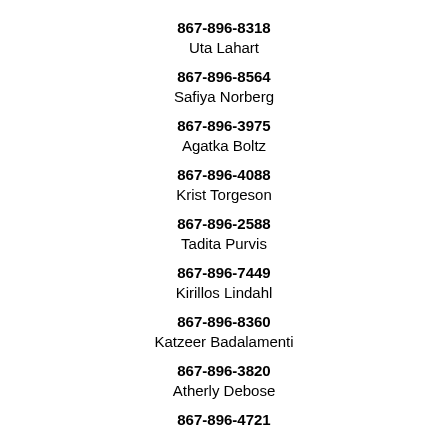867-896-8318
Uta Lahart
867-896-8564
Safiya Norberg
867-896-3975
Agatka Boltz
867-896-4088
Krist Torgeson
867-896-2588
Tadita Purvis
867-896-7449
Kirillos Lindahl
867-896-8360
Katzeer Badalamenti
867-896-3820
Atherly Debose
867-896-4721